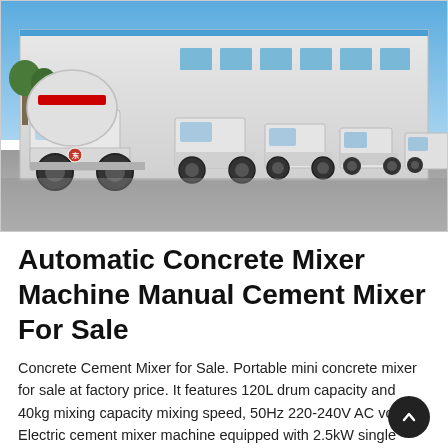[Figure (photo): Row of white concrete mixer trucks parked in front of a large industrial warehouse building under a clear blue sky. The leftmost truck features a large white and red drum mixer mounted on the back.]
Automatic Concrete Mixer Machine Manual Cement Mixer For Sale
Concrete Cement Mixer for Sale. Portable mini concrete mixer for sale at factory price. It features 120L drum capacity and 40kg mixing capacity mixing speed, 50Hz 220-240V AC voltage. Electric cement mixer machine equipped with 2.5kW single phase motor electric engine, the